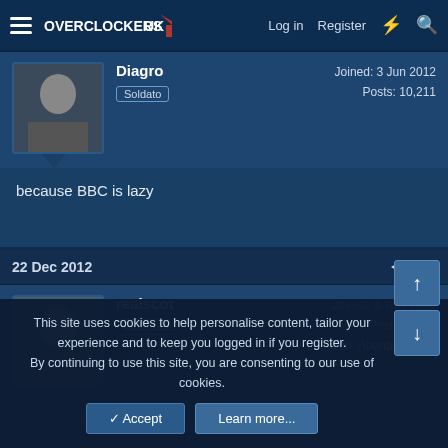Overclockers UK — Log in  Register
Diagro  Soldato  Joined: 3 Jun 2012  Posts: 10,211
because BBC is lazy
22 Dec 2012  #6
realscot  Associate  Joined: 6 Nov 2005  Posts: 2,311  Location: Aberdeenshire
This site uses cookies to help personalise content, tailor your experience and to keep you logged in if you register.
By continuing to use this site, you are consenting to our use of cookies.
✓ Accept  Learn more...